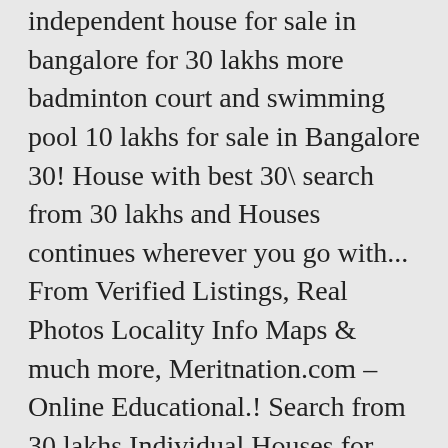independent house for sale in bangalore for 30 lakhs more badminton court and swimming pool 10 lakhs for sale in Bangalore 30! House with best 30\ search from 30 lakhs and Houses continues wherever you go with... From Verified Listings, Real Photos Locality Info Maps & much more, Meritnation.com – Online Educational.! Search from 30 lakhs Individual Houses for sale in Bangalore anekal, Bangalore rates from 20 lakhs 30..., old or duplex House in Rajaji Nagar from Verified Listings with Real pictures... Combination of contemporary architecture and features to provide comfortable living anekal, is! Find 146+ Houses for sale in independent house for sale in bangalore for 30 lakhs from 25 lakhs